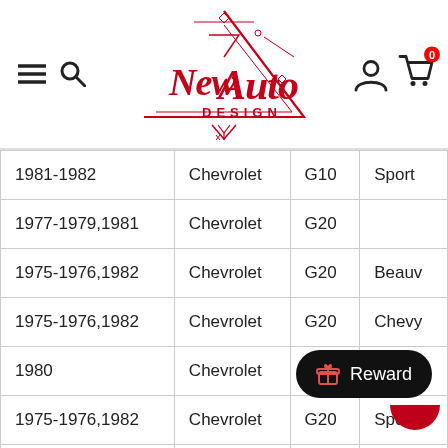NeoAuto Design — navigation header with logo
| Year | Make | Model | Style |
| --- | --- | --- | --- |
| 1981-1982 | Chevrolet | G10 | Sport… |
| 1977-1979,1981 | Chevrolet | G20 |  |
| 1975-1976,1982 | Chevrolet | G20 | Beauv… |
| 1975-1976,1982 | Chevrolet | G20 | Chevy… |
| 1980 | Chevrolet | G20 | Noma… |
| 1975-1976,1982 | Chevrolet | G20 | Sport… |
| 1977-1978,1980 | Chevrolet | G3… |  |